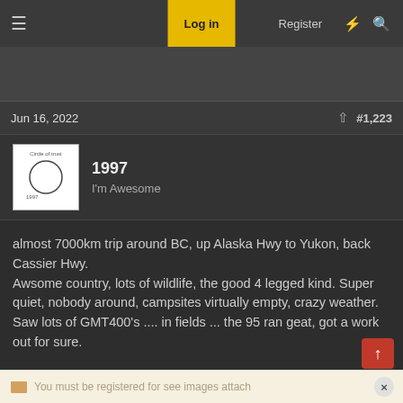Log in | Register
Jun 16, 2022   #1,223
1997
I'm Awesome
almost 7000km trip around BC, up Alaska Hwy to Yukon, back Cassier Hwy.
Awsome country, lots of wildlife, the good 4 legged kind. Super quiet, nobody around, campsites virtually empty, crazy weather. Saw lots of GMT400's .... in fields ... the 95 ran geat, got a work out for sure.
You must be registered for see images attach